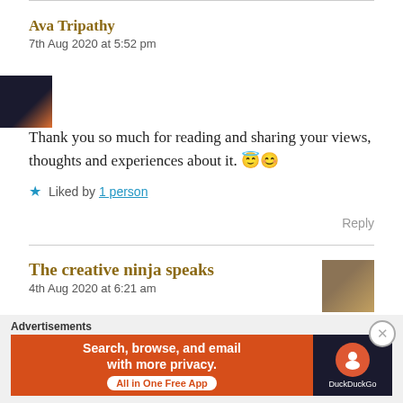Ava Tripathy
7th Aug 2020 at 5:52 pm
Thank you so much for reading and sharing your views, thoughts and experiences about it. 😇😊
★ Liked by 1 person
Reply
The creative ninja speaks
4th Aug 2020 at 6:21 am
Advertisements
[Figure (screenshot): DuckDuckGo advertisement banner: orange left panel with white text 'Search, browse, and email with more privacy.' and 'All in One Free App' button, dark right panel with DuckDuckGo logo and brand name.]